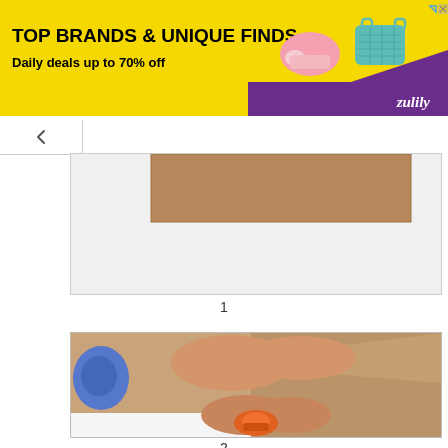[Figure (photo): Zulily advertisement banner with yellow background, text 'TOP BRANDS & UNIQUE FINDS / Daily deals up to 70% off', product images of shoes and a teal bag, and purple Zulily logo strip]
[Figure (photo): Step 1 - Light gray/white surface with a piece of brown kraft paper partially visible at top, showing beginning of gift wrapping process]
1
[Figure (photo): Step 2 - Hands using an orange tape dispenser to tape brown kraft paper, in the process of wrapping a package on a white surface with tape and scissors visible]
2